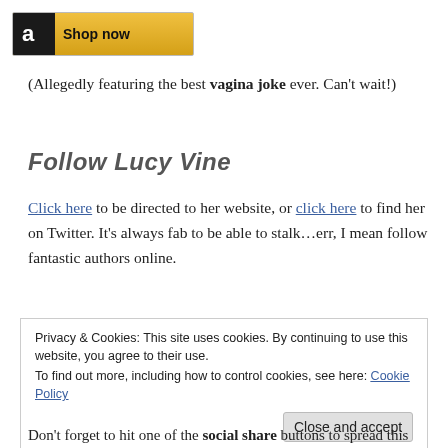[Figure (logo): Amazon 'Shop now' banner with Amazon logo on dark background and golden gradient background]
(Allegedly featuring the best vagina joke ever. Can't wait!)
Follow Lucy Vine
Click here to be directed to her website, or click here to find her on Twitter. It's always fab to be able to stalk…err, I mean follow fantastic authors online.
Privacy & Cookies: This site uses cookies. By continuing to use this website, you agree to their use.
To find out more, including how to control cookies, see here: Cookie Policy
Don't forget to hit one of the social share buttons to spread this